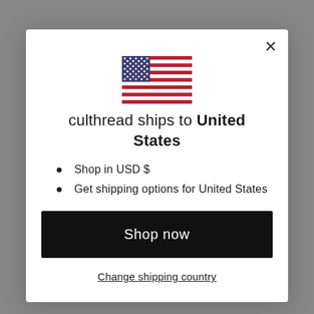[Figure (illustration): US flag SVG illustration centered in modal]
culthread ships to United States
Shop in USD $
Get shipping options for United States
Shop now
Change shipping country